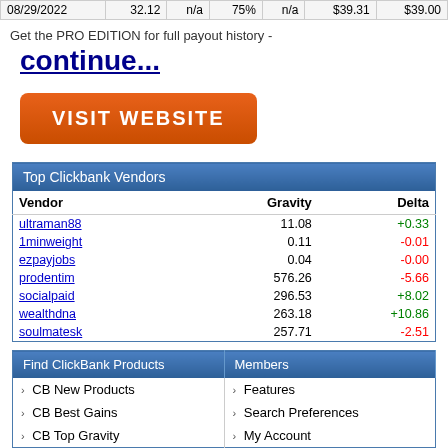| 08/29/2022 | 32.12 | n/a | 75% | n/a | $39.31 | $39.00 |
| --- | --- | --- | --- | --- | --- | --- |
Get the PRO EDITION for full payout history -
continue...
[Figure (other): Orange button labeled VISIT WEBSITE]
| Top Clickbank Vendors |  |  |
| --- | --- | --- |
| Vendor | Gravity | Delta |
| ultraman88 | 11.08 | +0.33 |
| 1minweight | 0.11 | -0.01 |
| ezpayjobs | 0.04 | -0.00 |
| prodentim | 576.26 | -5.66 |
| socialpaid | 296.53 | +8.02 |
| wealthdna | 263.18 | +10.86 |
| soulmatesk | 257.71 | -2.51 |
| Find ClickBank Products | Members |
| --- | --- |
| CB New Products | Features |
| CB Best Gains | Search Preferences |
| CB Top Gravity | My Account |